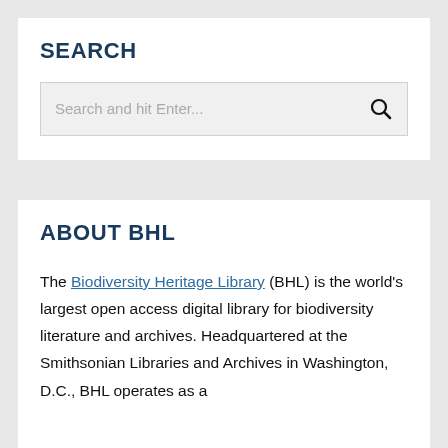SEARCH
[Figure (screenshot): Search input box with placeholder text 'Search and hit Enter...' and a magnifying glass icon on the right]
ABOUT BHL
The Biodiversity Heritage Library (BHL) is the world's largest open access digital library for biodiversity literature and archives. Headquartered at the Smithsonian Libraries and Archives in Washington, D.C., BHL operates as a